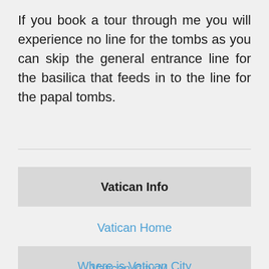If you book a tour through me you will experience no line for the tombs as you can skip the general entrance line for the basilica that feeds in to the line for the papal tombs.
Vatican Info
Vatican Home
Where is Vatican City
Vatican City M...